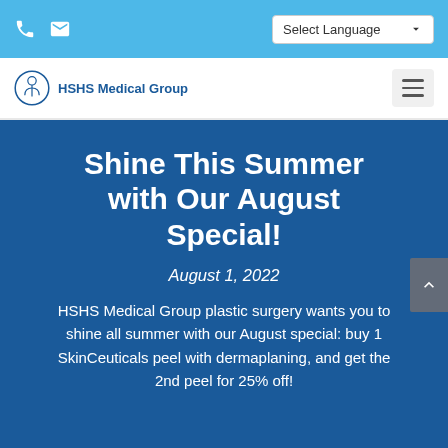HSHS Medical Group — Select Language
Shine This Summer with Our August Special!
August 1, 2022
HSHS Medical Group plastic surgery wants you to shine all summer with our August special: buy 1 SkinCeuticals peel with dermaplaning, and get the 2nd peel for 25% off!